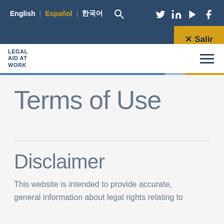English | Español | 한국어
✕ Salir
LEGAL AID AT WORK
Terms of Use
Disclaimer
This website is intended to provide accurate, general information about legal rights relating to